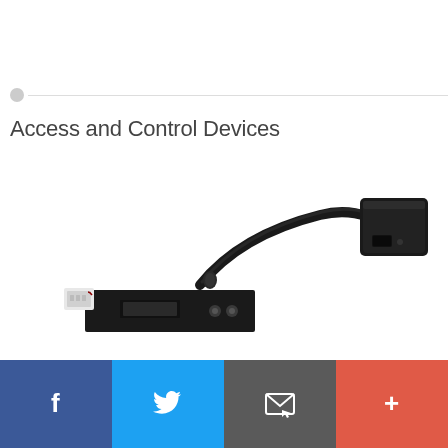Access and Control Devices
[Figure (photo): A hardware access and control device consisting of a black circuit card/bracket with a short black cable terminating in a large black square RJ-45 style connector, and a white plastic power connector on the left side.]
Facebook | Twitter | Email | More